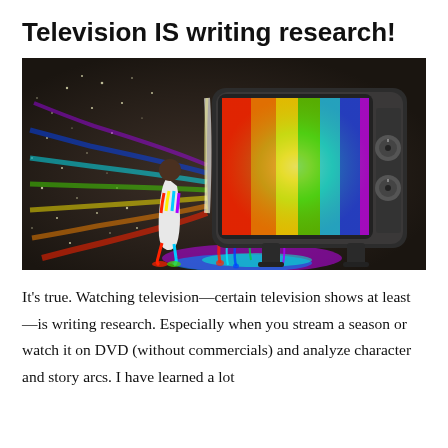Television IS writing research!
[Figure (illustration): A child standing in front of a large vintage television set with colorful rainbow paint pouring out of the screen, set against a dark, sparkly background. The scene is fantastical and vibrant with neon colors flowing from the TV onto the floor.]
It's true. Watching television—certain television shows at least—is writing research. Especially when you stream a season or watch it on DVD (without commercials) and analyze character and story arcs. I have learned a lot